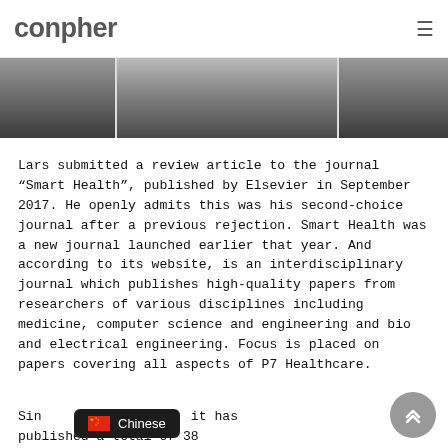conpher
[Figure (photo): Partial photo of a person, cropped at top, showing shoulders and lower face area with dark clothing]
Lars submitted a review article to the journal "Smart Health", published by Elsevier in September 2017. He openly admits this was his second-choice journal after a previous rejection. Smart Health was a new journal launched earlier that year. And according to its website, is an interdisciplinary journal which publishes high-quality papers from researchers of various disciplines including medicine, computer science and engineering and bio and electrical engineering. Focus is placed on papers covering all aspects of P7 Healthcare.
Since [Chinese] n 2017, it has published a total of 38